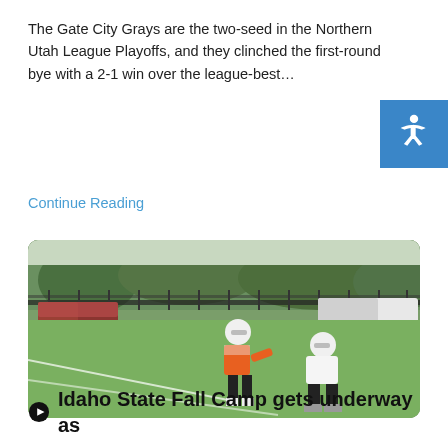The Gate City Grays are the two-seed in the Northern Utah League Playoffs, and they clinched the first-round bye with a 2-1 win over the league-best…
Continue Reading
[Figure (photo): Two football players in helmets on a practice field — one in an orange jersey in a quarterback stance, another in white crouching as center. Parked trucks and trees visible in background behind a fence.]
Idaho State Fall Camp gets underway as